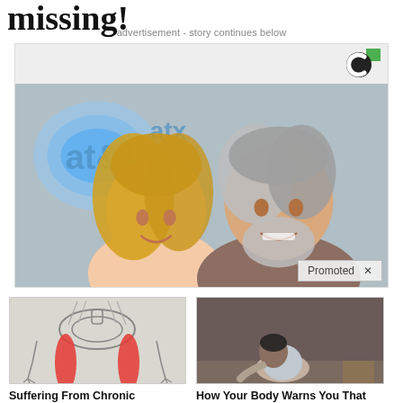missing!
advertisement - story continues below
[Figure (photo): Advertisement banner with a logo (circular C logo with green square) at top right, and a photo of a smiling blonde woman and an older man with grey hair and beard, with an AT&T logo visible in the background. A 'Promoted X' badge is shown at bottom right.]
[Figure (illustration): Medical illustration of a human pelvis and legs skeleton with red highlighted muscles indicating sciatica pain areas.]
Suffering From Chronic Sciatica-Pain? Here's A Secret You Need To Know
🔥 2,878
[Figure (photo): Photo of an elderly person sitting on a bed, hunched over, in a dim room with a lamp on a nightstand.]
How Your Body Warns You That Dementia Is Forming
🔥 43,359